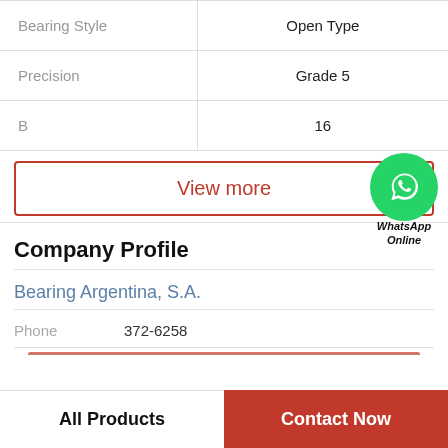|  |  |
| --- | --- |
| Bearing Style | Open Type |
| Precision | Grade 5 |
| B | 16 |
View more
[Figure (logo): WhatsApp green circle icon with phone handset, labeled 'WhatsApp Online']
Company Profile
Bearing Argentina, S.A.
Phone   372-6258
All Products
Contact Now